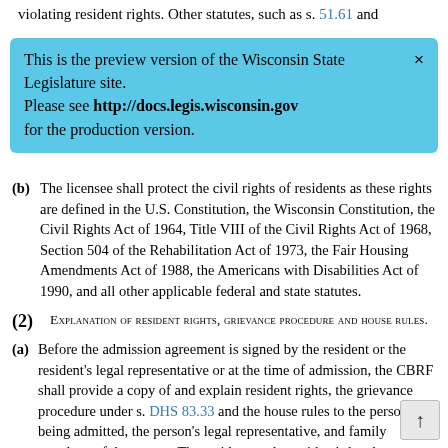violating resident rights. Other statutes, such as s. 51.61 and
[Figure (screenshot): Preview banner: 'This is the preview version of the Wisconsin State Legislature site. Please see http://docs.legis.wisconsin.gov for the production version.' with a close X button.]
(b) The licensee shall protect the civil rights of residents as these rights are defined in the U.S. Constitution, the Wisconsin Constitution, the Civil Rights Act of 1964, Title VIII of the Civil Rights Act of 1968, Section 504 of the Rehabilitation Act of 1973, the Fair Housing Amendments Act of 1988, the Americans with Disabilities Act of 1990, and all other applicable federal and state statutes.
(2) Explanation of resident rights, grievance procedure and house rules.
(a) Before the admission agreement is signed by the resident or the resident's legal representative or at the time of admission, the CBRF shall provide a copy of and explain resident rights, the grievance procedure under s. DHS 83.33 and the house rules to the person being admitted, the person's legal representative, and family members of the person. The resident or the resident's legal representative shall be asked to sign a statement to acknowledge the receipt of an explanation of resident rights. The CBRF shall document the date and to whom the information was provided.